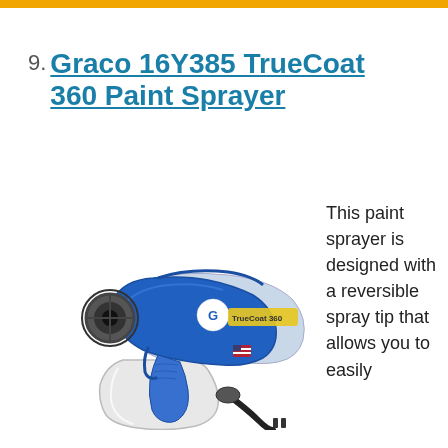9. Graco 16Y385 TrueCoat 360 Paint Sprayer
[Figure (photo): Photo of the Graco TrueCoat 360 paint sprayer, a blue and white handheld electric paint sprayer with a white cup/container at the bottom and a black power cord, sitting on a white background.]
This paint sprayer is designed with a reversible spray tip that allows you to easily